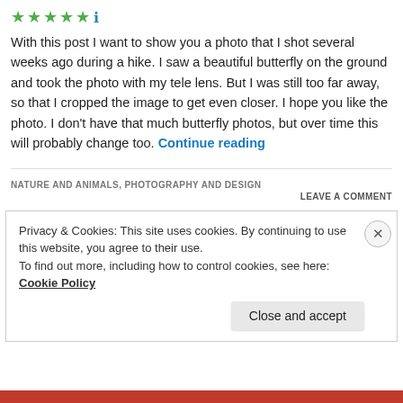[Figure (illustration): Five green star rating icons followed by a blue info icon]
With this post I want to show you a photo that I shot several weeks ago during a hike. I saw a beautiful butterfly on the ground and took the photo with my tele lens. But I was still too far away, so that I cropped the image to get even closer. I hope you like the photo. I don’t have that much butterfly photos, but over time this will probably change too. Continue reading
NATURE AND ANIMALS, PHOTOGRAPHY AND DESIGN
LEAVE A COMMENT
Privacy & Cookies: This site uses cookies. By continuing to use this website, you agree to their use.
To find out more, including how to control cookies, see here: Cookie Policy
Close and accept